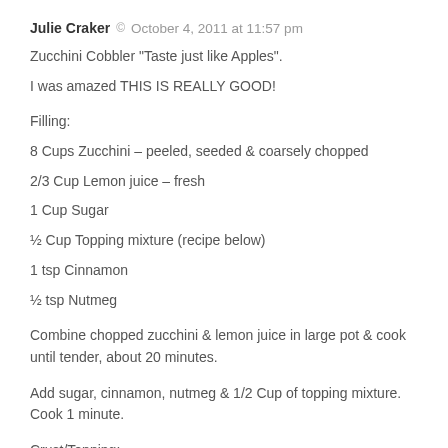Julie Craker  ©  October 4, 2011 at  11:57 pm
Zucchini Cobbler "Taste just like Apples".
I was amazed THIS IS REALLY GOOD!
Filling:
8 Cups Zucchini – peeled, seeded & coarsely chopped
2/3 Cup Lemon juice – fresh
1 Cup Sugar
½ Cup Topping mixture (recipe below)
1 tsp Cinnamon
½ tsp Nutmeg
Combine chopped zucchini & lemon juice in large pot & cook until tender, about 20 minutes.
Add sugar, cinnamon, nutmeg & 1/2 Cup of topping mixture. Cook 1 minute.
Crust/Topping:
4 Cups Flour